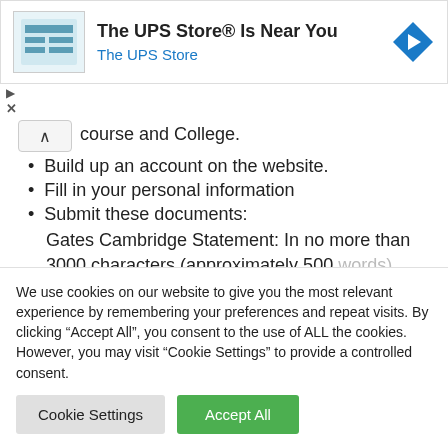[Figure (screenshot): UPS Store advertisement banner with store icon, title 'The UPS Store® Is Near You', subtitle 'The UPS Store', and a blue navigation arrow icon on the right.]
course and College.
Build up an account on the website.
Fill in your personal information
Submit these documents:
Gates Cambridge Statement: In no more than 3000 characters (approximately 500 words) Applicant should explain why
We use cookies on our website to give you the most relevant experience by remembering your preferences and repeat visits. By clicking "Accept All", you consent to the use of ALL the cookies. However, you may visit "Cookie Settings" to provide a controlled consent.